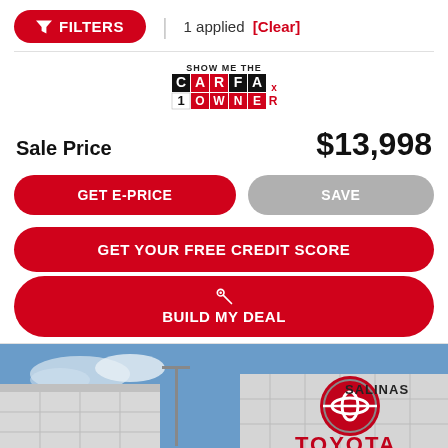FILTERS | 1 applied [Clear]
[Figure (logo): CARFAX Show Me The Carfax 1 Owner badge]
Sale Price   $13,998
GET E-PRICE
SAVE
GET YOUR FREE CREDIT SCORE
BUILD MY DEAL
[Figure (photo): Toyota Salinas dealership exterior with Toyota logo on building, a vehicle in the foreground, blue sky background]